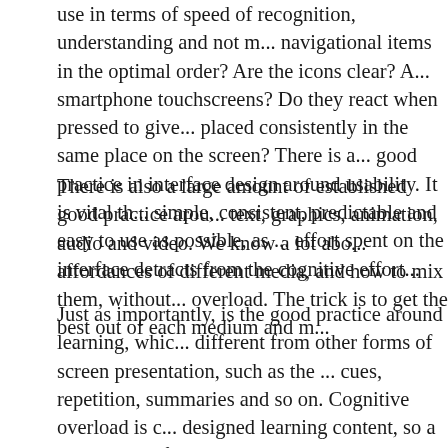use in terms of speed of recognition, understanding and not m... navigational items in the optimal order? Are the icons clear? A... smartphone touchscreens? Do they react when pressed to give... placed consistently in the same place on the screen? There is a... good practice in interface design around usability. It is vital th... simple, consistent, predictable and easy to use as possible, as ... effort spent on the interface detracts from the cognitive effort...
There is also a large amount of established good practice arou... text, graphics, animation, audio and video. We know a lot abo... affordances of different media, and how to mix them, without... overload. The trick is to get the best out of each medium and m...
Just as importantly, is the good practice around learning, whic... different from other forms of screen presentation, such as the ... cues, repetition, summaries and so on. Cognitive overload is c... designed learning content, so a knowledge of good learning th... behavioural side of design.
What you get learners to DO is also really important, as that is... powerful than what they see or hear. This is where experience... include interaction with the mind, beyond just clicking on item... pop-ups. Cognitive effort matters - a lot! We must be very ca...